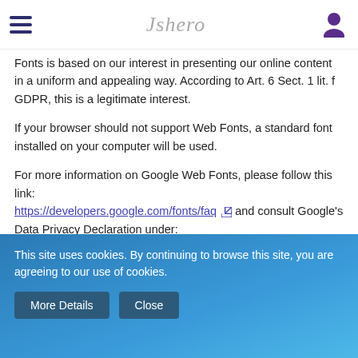Jshero (logo and navigation)
Fonts is based on our interest in presenting our online content in a uniform and appealing way. According to Art. 6 Sect. 1 lit. f GDPR, this is a legitimate interest.
If your browser should not support Web Fonts, a standard font installed on your computer will be used.
For more information on Google Web Fonts, please follow this link: https://developers.google.com/fonts/faq and consult Google's Data Privacy Declaration under: https://policies.google.com/privacy?hl=en.
Google Maps
Via an API, this website uses the mapping service Google Maps. The
This site uses cookies. By continuing to browse this site, you are agreeing to our use of cookies.